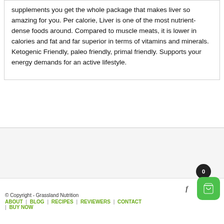supplements you get the whole package that makes liver so amazing for you. Per calorie, Liver is one of the most nutrient-dense foods around. Compared to muscle meats, it is lower in calories and fat and far superior in terms of vitamins and minerals. Ketogenic Friendly, paleo friendly, primal friendly. Supports your energy demands for an active lifestyle.
© Copyright - Grassland Nutrition
ABOUT | BLOG | RECIPES | REVIEWERS | CONTACT | BUY NOW